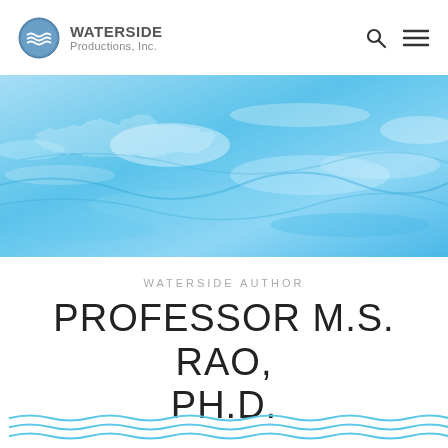[Figure (logo): Waterside Productions, Inc. logo with circular water wave icon and company name]
[Figure (photo): Blue water surface ripple texture banner image]
WATERSIDE AUTHOR
PROFESSOR M.S. RAO, PH.D.
[Figure (illustration): Decorative blue wave lines at bottom of page]